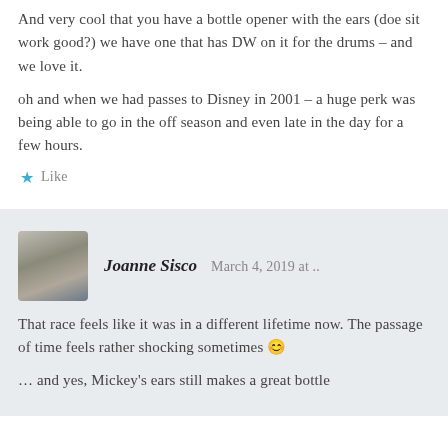And very cool that you have a bottle opener with the ears (doe sit work good?) we have one that has DW on it for the drums – and we love it.
oh and when we had passes to Disney in 2001 – a huge perk was being able to go in the off season and even late in the day for a few hours.
Like
Joanne Sisco   March 4, 2019 at ..
That race feels like it was in a different lifetime now. The passage of time feels rather shocking sometimes 😊
… and yes, Mickey's ears still makes a great bottle